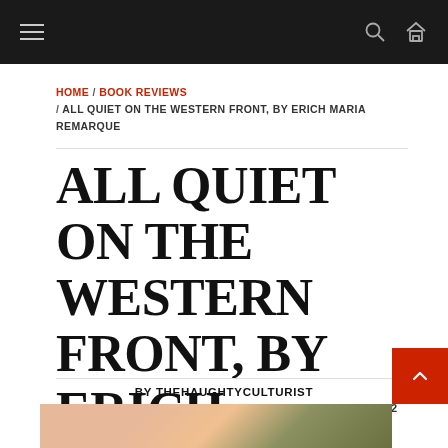Navigation bar with hamburger menu, search and home icons
HOME / BOOK REVIEWS / ALL QUIET ON THE WESTERN FRONT, BY ERICH MARIA REMARQUE
ALL QUIET ON THE WESTERN FRONT, BY ERICH MARIA REMARQUE
BY THEHAUGHTYCULTURIST PUBLISHED: 28 MARCH 2019 UPDATED: 22 JANUARY 2022
[Figure (photo): Bottom portion of an image showing what appears to be a poppy flower]